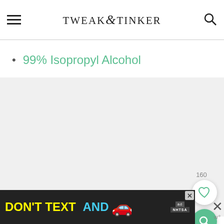TWEAK & TINKER
99% Isopropyl Alcohol
[Figure (photo): Light gray image placeholder area with carousel indicator dots at the bottom center (3 gray dots)]
[Figure (infographic): Ad banner: DON'T TEXT AND [car emoji] with NHTSA ad badge, and close button]